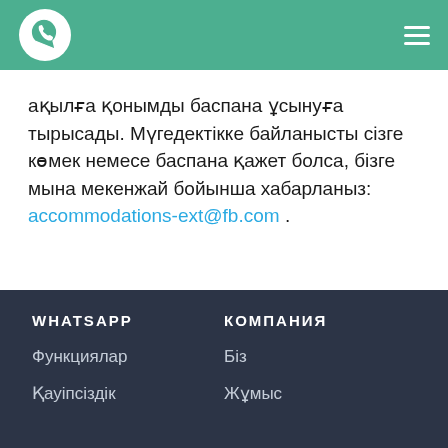[Figure (logo): WhatsApp logo — green circle with white phone handset icon]
ақылға қонымды баспана ұсынуға тырысады. Мүгедектікке байланысты сізге көмек немесе баспана қажет болса, бізге мына мекенжай бойынша хабарланыз: accommodations-ext@fb.com .
WHATSAPP
КОМПАНИЯ
Функциялар
Біз
Қауіпсіздік
Жұмыс